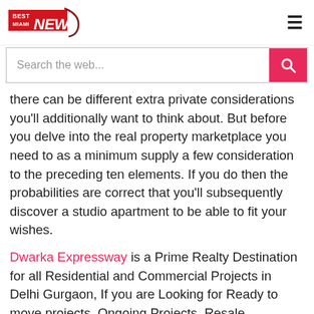Best Miami News [logo] [hamburger menu]
[Figure (screenshot): Search bar with 'Search the web...' placeholder and red search button]
there can be different extra private considerations you'll additionally want to think about. But before you delve into the real property marketplace you need to as a minimum supply a few consideration to the preceding ten elements. If you do then the probabilities are correct that you'll subsequently discover a studio apartment to be able to fit your wishes.
Dwarka Expressway is a Prime Realty Destination for all Residential and Commercial Projects in Delhi Gurgaon, If you are Looking for Ready to move projects, Ongoing Projects, Resale Properties 1, 2, 3, 4, 5 BHK, Furnished, Semi-furnished, Unfurnished Apartments, Land/plots for Sale, Buy Commercial office space, small office, shared office, Industrial Space, Shop. Here lease or pre-leased